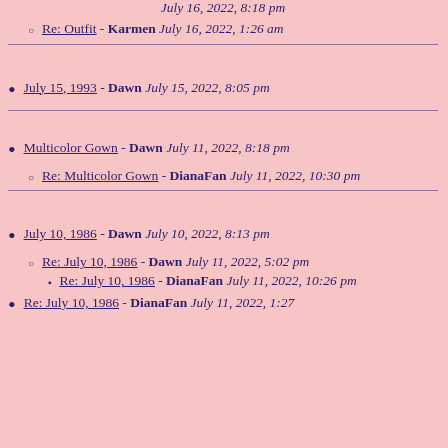July 16, 2022, 8:18 pm
Re: Outfit - Karmen July 16, 2022, 1:26 am
July 15, 1993 - Dawn July 15, 2022, 8:05 pm
Multicolor Gown - Dawn July 11, 2022, 8:18 pm
Re: Multicolor Gown - DianaFan July 11, 2022, 10:30 pm
July 10, 1986 - Dawn July 10, 2022, 8:13 pm
Re: July 10, 1986 - Dawn July 11, 2022, 5:02 pm
Re: July 10, 1986 - DianaFan July 11, 2022, 10:26 pm
Re: July 10, 1986 - DianaFan July 11, 2022, 1:27